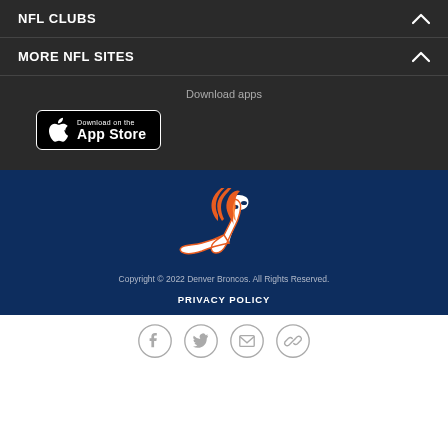NFL CLUBS
MORE NFL SITES
Download apps
[Figure (screenshot): Download on the App Store button]
[Figure (logo): Denver Broncos logo - horse head in orange and white with orange mane]
Copyright © 2022 Denver Broncos. All Rights Reserved.
PRIVACY POLICY
[Figure (infographic): Social media icons row: Facebook, Twitter, Email, Link/Chain]